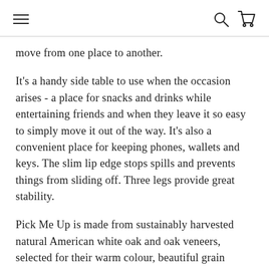[hamburger menu] [search icon] [cart icon]
move from one place to another.
It's a handy side table to use when the occasion arises - a place for snacks and drinks while entertaining friends and when they leave it so easy to simply move it out of the way. It's also a convenient place for keeping phones, wallets and keys. The slim lip edge stops spills and prevents things from sliding off. Three legs provide great stability.
Pick Me Up is made from sustainably harvested natural American white oak and oak veneers, selected for their warm colour, beautiful grain